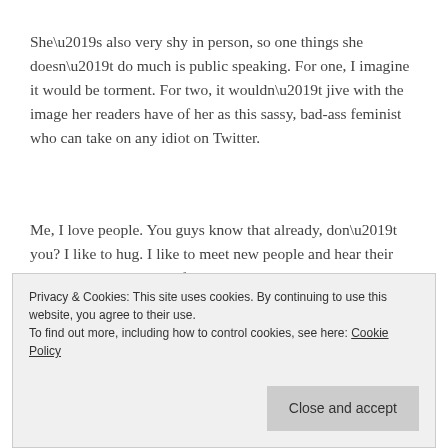She’s also very shy in person, so one things she doesn’t do much is public speaking. For one, I imagine it would be torment. For two, it wouldn’t jive with the image her readers have of her as this sassy, bad-ass feminist who can take on any idiot on Twitter.
Me, I love people. You guys know that already, don’t you? I like to hug. I like to meet new people and hear their stories. That was true before I was an author, but now that I do this for a living, it’s organic marketing. It’s authentic, it reinforces
from the masses.
Privacy & Cookies: This site uses cookies. By continuing to use this website, you agree to their use.
To find out more, including how to control cookies, see here: Cookie Policy